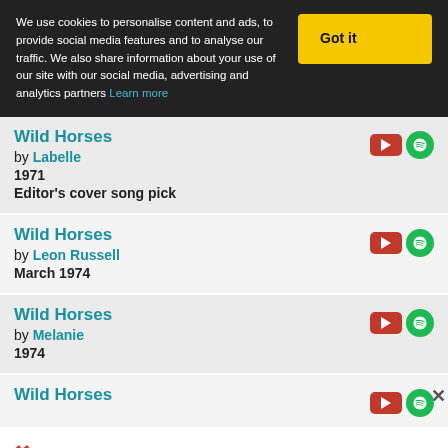We use cookies to personalise content and ads, to provide social media features and to analyse our traffic. We also share information about your use of our site with our social media, advertising and analytics partners Learn more
Wild Horses by Labelle 1971 Editor's cover song pick
Wild Horses by Leon Russell March 1974
Wild Horses by Melanie 1974
Wild Horses